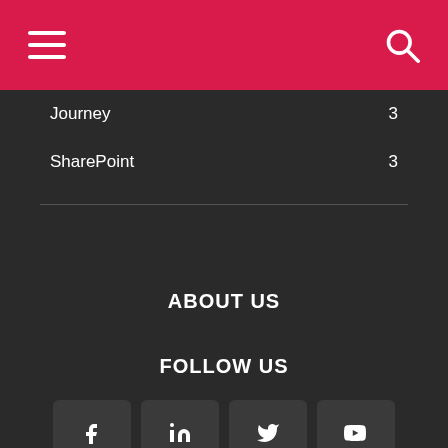Navigation header with hamburger menu and search icon
Journey 3
SharePoint 3
ABOUT US
FOLLOW US
[Figure (infographic): Social media icons: Facebook, LinkedIn, Twitter, YouTube]